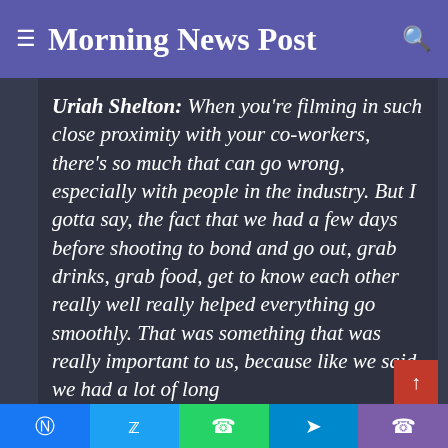Morning News Post
Uriah Shelton: When you're filming in such close proximity with your co-workers, there's so much that can go wrong, especially with people in the industry. But I gotta say, the fact that we had a few days before shooting to bond and go out, grab drinks, grab food, get to know each other really well really helped everything go smoothly. That was something that was really important to us, because like we said, we had a lot of long
Facebook Twitter WhatsApp Telegram Phone